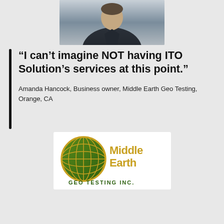[Figure (photo): Partial photo of a person wearing a dark jacket, cropped at the shoulders/head area, shown from mid-chest up.]
“I can’t imagine NOT having ITO Solution’s services at this point.”
Amanda Hancock, Business owner, Middle Earth Geo Testing, Orange, CA
[Figure (logo): Middle Earth Geo Testing Inc. logo — a globe graphic in green and yellow with the company name in bold gold/orange letters.]